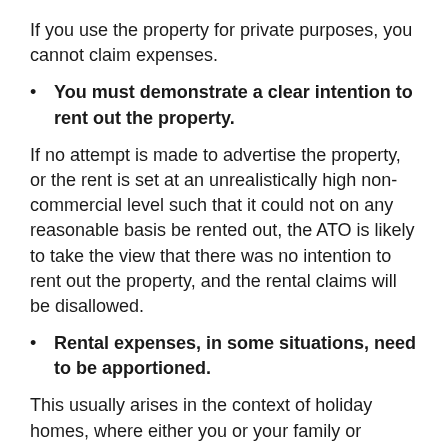If you use the property for private purposes, you cannot claim expenses.
You must demonstrate a clear intention to rent out the property.
If no attempt is made to advertise the property, or the rent is set at an unrealistically high non-commercial level such that it could not on any reasonable basis be rented out, the ATO is likely to take the view that there was no intention to rent out the property, and the rental claims will be disallowed.
Rental expenses, in some situations, need to be apportioned.
This usually arises in the context of holiday homes, where either you or your family or friends, can stay in the property free of charge for part of the year.
To the extent that the expenses relate to that part of the year during which the property is not rented or available for rent, you are not entitled to a deduction for costs incurred during those relevant periods.